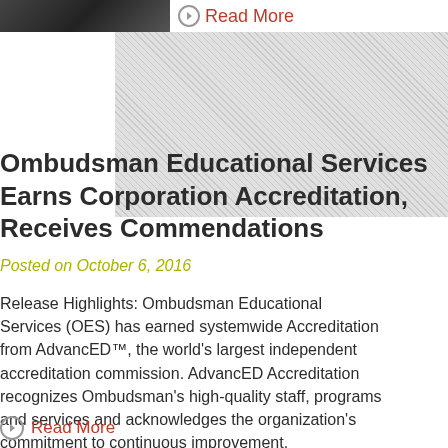[Figure (photo): Partial photo of people at top left, cropped]
Read More
Ombudsman Educational Services Earns Corporation Accreditation, Receives Commendations
Posted on October 6, 2016
Release Highlights: Ombudsman Educational Services (OES) has earned systemwide Accreditation from AdvancED™, the world's largest independent accreditation commission. AdvancED Accreditation recognizes Ombudsman's high-quality staff, programs and services and acknowledges the organization's commitment to continuous improvement. Ombudsman received commendations from AdvancED ...
Read More